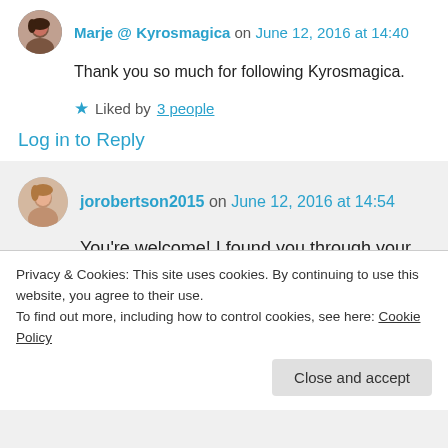Marje @ Kyrosmagica on June 12, 2016 at 14:40
Thank you so much for following Kyrosmagica.
Liked by 3 people
Log in to Reply
jorobertson2015 on June 12, 2016 at 14:54
You're welcome! I found you through your post about the bloggers bash. It looked like
Privacy & Cookies: This site uses cookies. By continuing to use this website, you agree to their use.
To find out more, including how to control cookies, see here: Cookie Policy
Close and accept